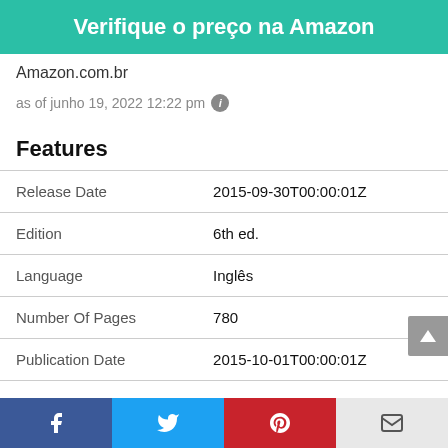Verifique o preço na Amazon
Amazon.com.br
as of junho 19, 2022 12:22 pm ℹ
Features
|  |  |
| --- | --- |
| Release Date | 2015-09-30T00:00:01Z |
| Edition | 6th ed. |
| Language | Inglês |
| Number Of Pages | 780 |
| Publication Date | 2015-10-01T00:00:01Z |
Facebook Twitter Pinterest Email